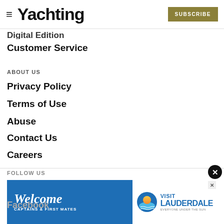≡ Yachting SUBSCRIBE
Digital Edition
Customer Service
ABOUT US
Privacy Policy
Terms of Use
Abuse
Contact Us
Careers
FOLLOW US
Email
Facebook
[Figure (advertisement): Advertisement banner: Welcome Captains & First Mates — Visit Lauderdale, Everyone Under the Sun. Blue background with sun/water graphic logo.]